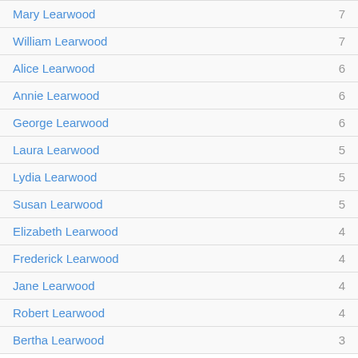Mary Learwood — 7
William Learwood — 7
Alice Learwood — 6
Annie Learwood — 6
George Learwood — 6
Laura Learwood — 5
Lydia Learwood — 5
Susan Learwood — 5
Elizabeth Learwood — 4
Frederick Learwood — 4
Jane Learwood — 4
Robert Learwood — 4
Bertha Learwood — 3